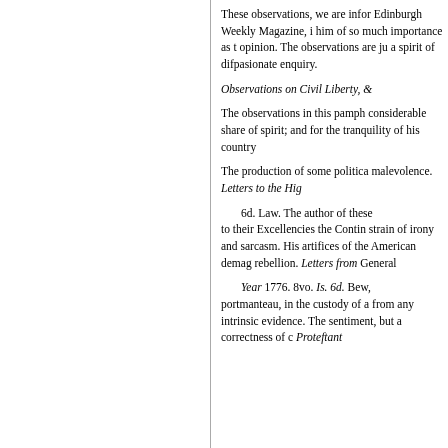These observations, we are informed by the Edinburgh Weekly Magazine, in a letter from him of so much importance as to alter opinion. The observations are ju a spirit of difpasionate enquiry.
Observations on Civil Liberty, &
The observations in this pamph considerable share of spirit; and for the tranquility of his country
The production of some politica malevolence. Letters to the Hig
6d. Law. The author of these to their Excellencies the Contin strain of irony and sarcasm. His artifices of the American demag rebellion. Letters from General
Year 1776. 8vo. Is. 6d. Bew, portmanteau, in the custody of a from any intrinsic evidence. The sentiment, but a correctness of c Proteftant